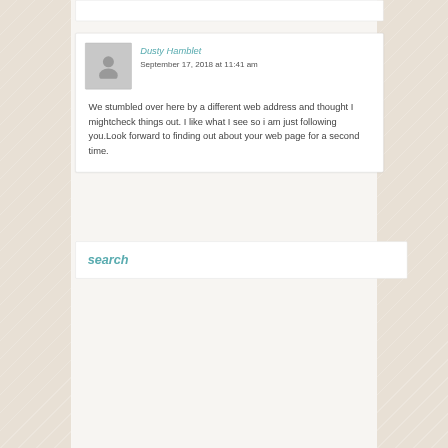Dusty Hamblet
September 17, 2018 at 11:41 am
We stumbled over here by a different web address and thought I mightcheck things out. I like what I see so i am just following you.Look forward to finding out about your web page for a second time.
search